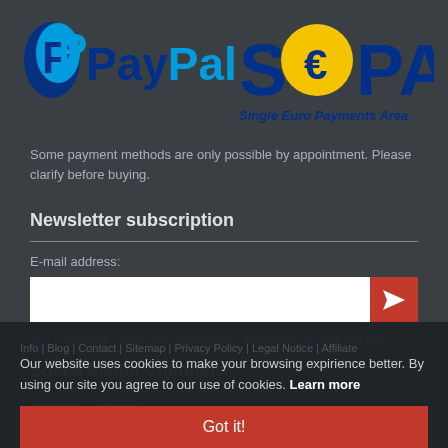[Figure (logo): PayPal logo and SEPA (Single Euro Payments Area) logo side by side on dark background]
Some payment methods are only possible by appointment. Please clarify before buying.
Newsletter subscription
E-mail address:
[Figure (screenshot): Email input field with red send button (paper plane icon)]
The newsletter can be canceled here or in your Account at any time.
Social Media Channels
[Figure (illustration): Social media icons: YouTube, Instagram, Twitter, and one more platform]
Our website uses cookies to make your browsing expirience better. By using our site you agree to our use of cookies. Learn more
Got it!